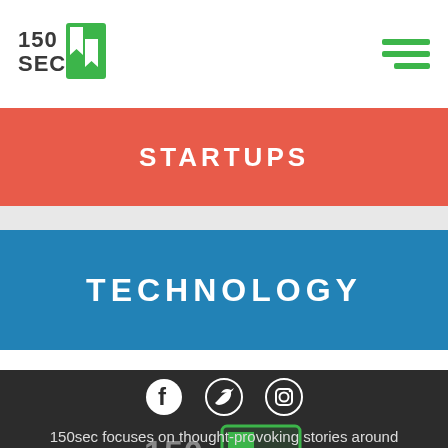150 SEC [logo with hamburger menu]
STARTUPS
TECHNOLOGY
[Figure (logo): Social media icons: Facebook, Twitter, Instagram in white on dark background]
[Figure (logo): 150 SEC logo in green on dark background]
150sec focuses on thought-provoking stories around